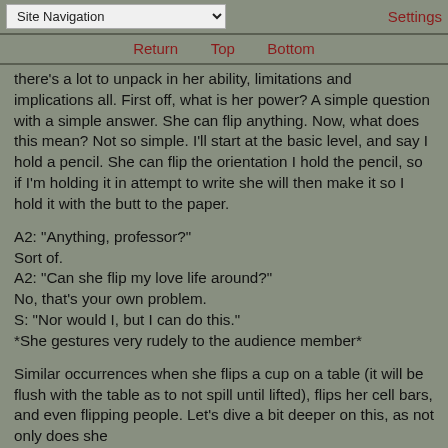Site Navigation | Settings
Return   Top   Bottom
there's a lot to unpack in her ability, limitations and implications all. First off, what is her power? A simple question with a simple answer. She can flip anything. Now, what does this mean? Not so simple. I'll start at the basic level, and say I hold a pencil. She can flip the orientation I hold the pencil, so if I'm holding it in attempt to write she will then make it so I hold it with the butt to the paper.
A2: "Anything, professor?"
Sort of.
A2: "Can she flip my love life around?"
No, that's your own problem.
S: "Nor would I, but I can do this."
*She gestures very rudely to the audience member*
Similar occurrences when she flips a cup on a table (it will be flush with the table as to not spill until lifted), flips her cell bars, and even flipping people. Let's dive a bit deeper on this, as not only does she